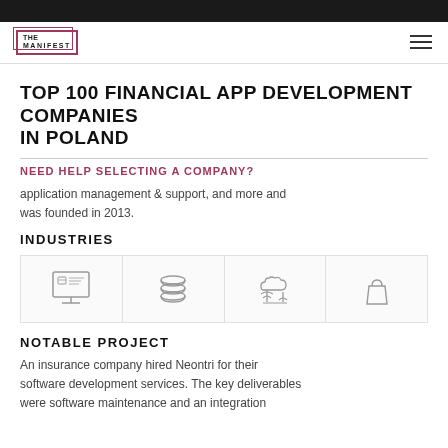THE MANIFEST
TOP 100 FINANCIAL APP DEVELOPMENT COMPANIES IN POLAND
NEED HELP SELECTING A COMPANY?
application management & support, and more and was founded in 2013.
INDUSTRIES
[Figure (illustration): Four industry icons in bordered boxes: e-commerce (monitor with cart), finance/database (stacked coins/cylinders), cloud technology (cloud with trees), and retail/shopping (shopping bag)]
NOTABLE PROJECT
An insurance company hired Neontri for their software development services. The key deliverables were software maintenance and an integration